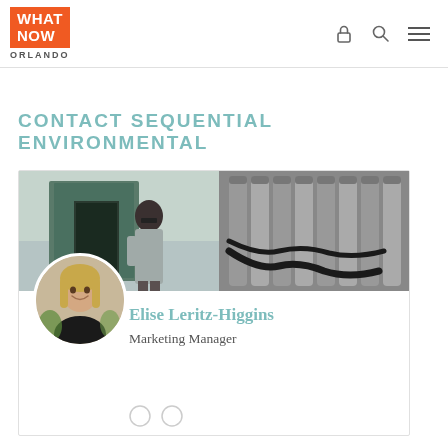WHAT NOW ORLANDO
CONTACT SEQUENTIAL ENVIRONMENTAL
[Figure (photo): Industrial facility photo showing a worker in a blue uniform examining equipment, alongside industrial machinery with hoses and metal cylinders]
[Figure (photo): Circular headshot of Elise Leritz-Higgins, a woman with long blonde hair, smiling outdoors]
Elise Leritz-Higgins
Marketing Manager